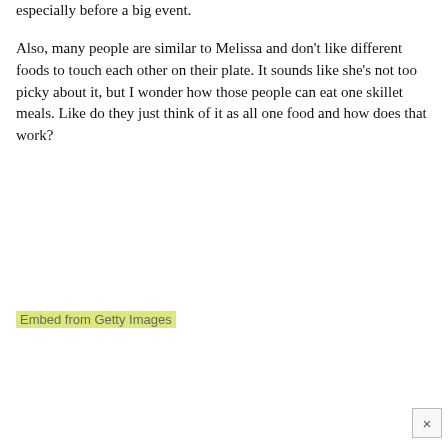especially before a big event.
Also, many people are similar to Melissa and don't like different foods to touch each other on their plate. It sounds like she's not too picky about it, but I wonder how those people can eat one skillet meals. Like do they just think of it as all one food and how does that work?
Embed from Getty Images
[Figure (other): Close button (×) in bottom-right corner]